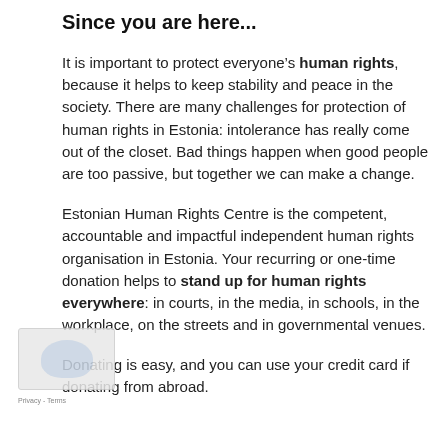Since you are here...
It is important to protect everyone’s human rights, because it helps to keep stability and peace in the society. There are many challenges for protection of human rights in Estonia: intolerance has really come out of the closet. Bad things happen when good people are too passive, but together we can make a change.
Estonian Human Rights Centre is the competent, accountable and impactful independent human rights organisation in Estonia. Your recurring or one-time donation helps to stand up for human rights everywhere: in courts, in the media, in schools, in the workplace, on the streets and in governmental venues.
Donating is easy, and you can use your credit card if donating from abroad.